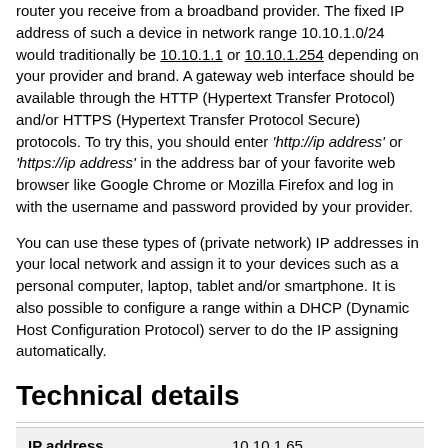router you receive from a broadband provider. The fixed IP address of such a device in network range 10.10.1.0/24 would traditionally be 10.10.1.1 or 10.10.1.254 depending on your provider and brand. A gateway web interface should be available through the HTTP (Hypertext Transfer Protocol) and/or HTTPS (Hypertext Transfer Protocol Secure) protocols. To try this, you should enter 'http://ip address' or 'https://ip address' in the address bar of your favorite web browser like Google Chrome or Mozilla Firefox and log in with the username and password provided by your provider.
You can use these types of (private network) IP addresses in your local network and assign it to your devices such as a personal computer, laptop, tablet and/or smartphone. It is also possible to configure a range within a DHCP (Dynamic Host Configuration Protocol) server to do the IP assigning automatically.
Technical details
|  |  |
| --- | --- |
| IP address | 10.10.1.65 |
| Address type | Private |
| Protocol version | IPv4 |